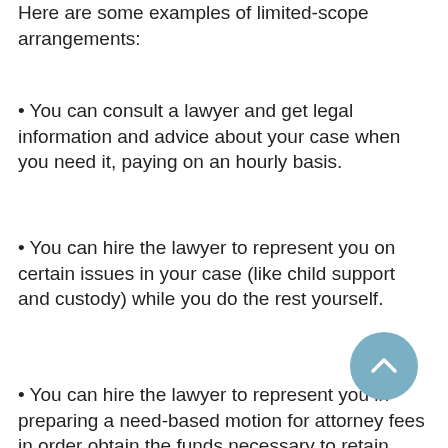Here are some examples of limited-scope arrangements:
• You can consult a lawyer and get legal information and advice about your case when you need it, paying on an hourly basis.
• You can hire the lawyer to represent you on certain issues in your case (like child support and custody) while you do the rest yourself.
• You can hire the lawyer to represent you in preparing a need-based motion for attorney fees in order obtain the funds necessary to retain representation on all matters of your case.